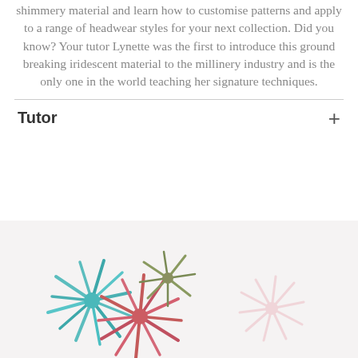shimmery material and learn how to customise patterns and apply to a range of headwear styles for your next collection. Did you know? Your tutor Lynette was the first to introduce this ground breaking iridescent material to the millinery industry and is the only one in the world teaching her signature techniques.
Tutor
[Figure (photo): Photo of colorful spiky pom-pom like fabric flowers or millinery decorations in teal/blue and red/pink colors against a light background]